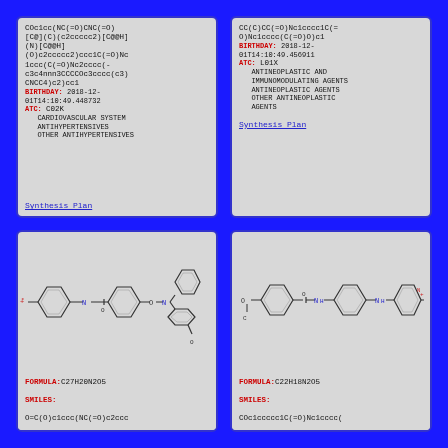COc1cc(NC(=O)CNC(=O)[C@](C)(c2ccccc2)[C@@H](N)[C@@H](O)c2ccccc2)ccc1C(=O)Nc1ccc(C(=O)Nc2cccc(-c3c4nnn3CCCCOc3cccc(c3)CNCC4)c2)cc1 BIRTHDAY: 2018-12-01T14:10:49.448732 ATC: C02K CARDIOVASCULAR SYSTEM ANTIHYPERTENSIVES OTHER ANTIHYPERTENSIVES Synthesis Plan
CC(C)CC(=O)Nc1cccc1C(=O)Nc1cccc(C(=O)O)c1 BIRTHDAY: 2018-12-01T14:10:49.456911 ATC: L01X ANTINEOPLASTIC AND IMMUNOMODULATING AGENTS ANTINEOPLASTIC AGENTS OTHER ANTINEOPLASTIC AGENTS Synthesis Plan
[Figure (illustration): Chemical structure diagram of a molecule with multiple benzene rings, NO2 and carbonyl groups. FORMULA: C27H20N2O5, SMILES: O=C(O)c1ccc(NC(=O)c2ccc...]
[Figure (illustration): Chemical structure diagram of a molecule with benzene rings, NH groups, and NO2 group. FORMULA: C22H18N2O5, SMILES: COc1ccccc1C(=O)Nc1cccc(]